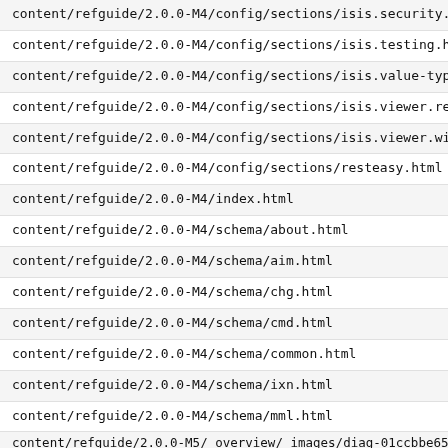content/refguide/2.0.0-M4/config/sections/isis.security.shi
content/refguide/2.0.0-M4/config/sections/isis.testing.html
content/refguide/2.0.0-M4/config/sections/isis.value-types.h
content/refguide/2.0.0-M4/config/sections/isis.viewer.restfu
content/refguide/2.0.0-M4/config/sections/isis.viewer.wicket
content/refguide/2.0.0-M4/config/sections/resteasy.html
content/refguide/2.0.0-M4/index.html
content/refguide/2.0.0-M4/schema/about.html
content/refguide/2.0.0-M4/schema/aim.html
content/refguide/2.0.0-M4/schema/chg.html
content/refguide/2.0.0-M4/schema/cmd.html
content/refguide/2.0.0-M4/schema/common.html
content/refguide/2.0.0-M4/schema/ixn.html
content/refguide/2.0.0-M4/schema/mml.html
content/refguide/2.0.0-M5/_overview/_images/diag-01ccbbe656b
content/refguide/2.0.0-M5/_overview/_images/diag-0230c8e4072
content/refguide/2.0.0-M5/_overview/_images/diag-07cbbf66c48
content/refguide/2.0.0-M5/_overview/_images/diag-1453847bed3